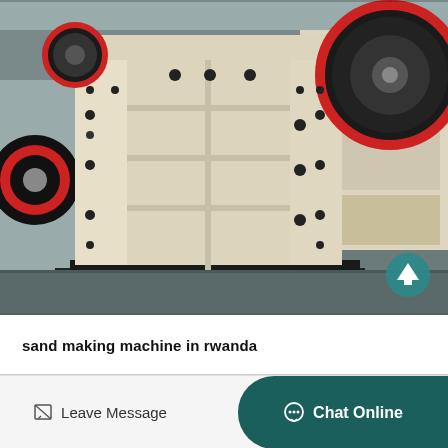[Figure (photo): Industrial jaw crusher machine in a factory setting. Large cream/beige colored heavy machinery with black flywheel with red ring, mounted on black base plate. Multiple bolt fasteners visible on the frame structure with grid-like compartments.]
sand making machine in rwanda
Leave Message
Chat Online